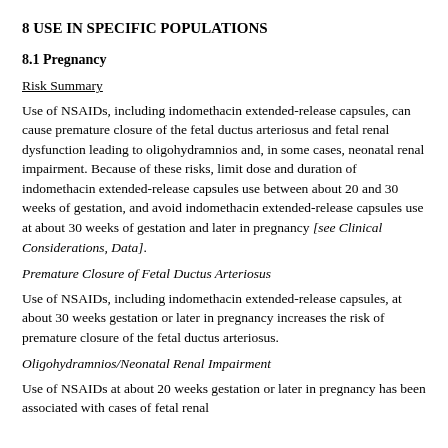8 USE IN SPECIFIC POPULATIONS
8.1 Pregnancy
Risk Summary
Use of NSAIDs, including indomethacin extended-release capsules, can cause premature closure of the fetal ductus arteriosus and fetal renal dysfunction leading to oligohydramnios and, in some cases, neonatal renal impairment. Because of these risks, limit dose and duration of indomethacin extended-release capsules use between about 20 and 30 weeks of gestation, and avoid indomethacin extended-release capsules use at about 30 weeks of gestation and later in pregnancy [see Clinical Considerations, Data].
Premature Closure of Fetal Ductus Arteriosus
Use of NSAIDs, including indomethacin extended-release capsules, at about 30 weeks gestation or later in pregnancy increases the risk of premature closure of the fetal ductus arteriosus.
Oligohydramnios/Neonatal Renal Impairment
Use of NSAIDs at about 20 weeks gestation or later in pregnancy has been associated with cases of fetal renal